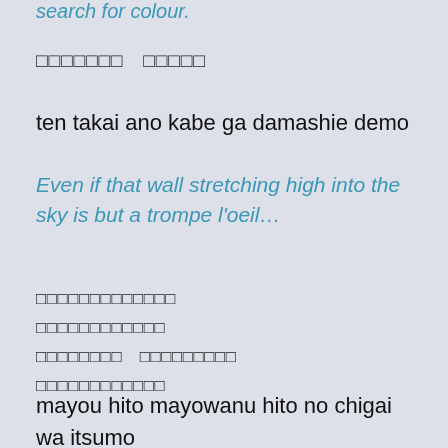search for colour.
□□□□□□□　□□□□□
ten takai ano kabe ga damashie demo
Even if that wall stretching high into the sky is but a trompe l'oeil…
□□□□□□□□□□□□□
□□□□□□□□□□□□
□□□□□□□□　□□□□□□□□□
□□□□□□□□□□□□
mayou hito mayowanu hito no chigai wa itsumo